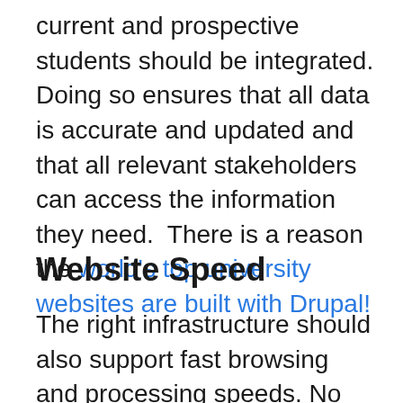current and prospective students should be integrated. Doing so ensures that all data is accurate and updated and that all relevant stakeholders can access the information they need.  There is a reason the world's top university websites are built with Drupal!
Website Speed
The right infrastructure should also support fast browsing and processing speeds. No one likes a slow website, and your students and staff are no exception. You can create the most aesthetically pleasing and informational website, but if it takes too long to load, no one